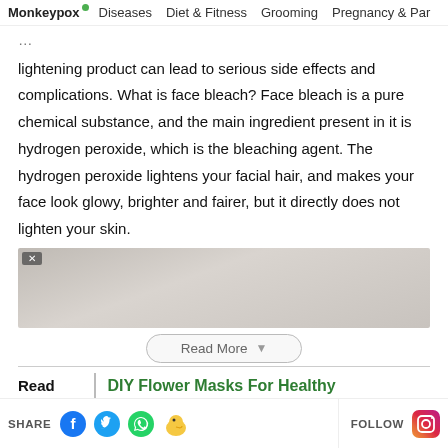Monkeypox | Diseases | Diet & Fitness | Grooming | Pregnancy & Par...
lightening product can lead to serious side effects and complications. What is face bleach? Face bleach is a pure chemical substance, and the main ingredient present in it is hydrogen peroxide, which is the bleaching agent. The hydrogen peroxide lightens your facial hair, and makes your face look glowy, brighter and fairer, but it directly does not lighten your skin.
[Figure (photo): Advertisement image overlay with close button, blurred product image visible]
Read More
Read
DIY Flower Masks For Healthy
SHARE | FOLLOW